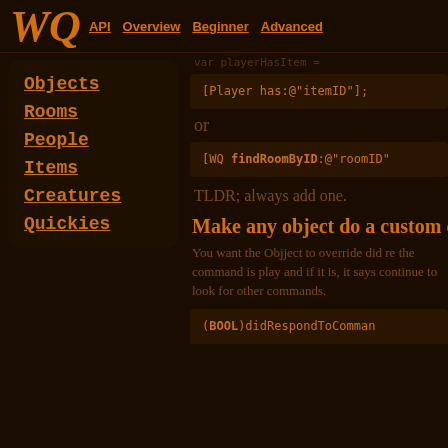WQ  API  Overview  Beginner  Advanced
Objects
Rooms
People
Items
Creatures
Quickies
[Player has:@"itemID"];
or
[WQ findRoomByID:@"roomID"
TLDR; always add one.
Make any object do a custom com
You want the Objject to override did re the command is play and if it is, it says continue to look for other commands.
(BOOL)didRespondToComman